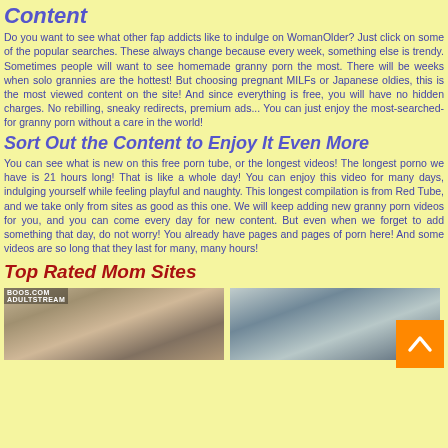Content
Do you want to see what other fap addicts like to indulge on WomanOlder? Just click on some of the popular searches. These always change because every week, something else is trendy. Sometimes people will want to see homemade granny porn the most. There will be weeks when solo grannies are the hottest! But choosing pregnant MILFs or Japanese oldies, this is the most viewed content on the site! And since everything is free, you will have no hidden charges. No rebilling, sneaky redirects, premium ads... You can just enjoy the most-searched-for granny porn without a care in the world!
Sort Out the Content to Enjoy It Even More
You can see what is new on this free porn tube, or the longest videos! The longest porno we have is 21 hours long! That is like a whole day! You can enjoy this video for many days, indulging yourself while feeling playful and naughty. This longest compilation is from Red Tube, and we take only from sites as good as this one. We will keep adding new granny porn videos for you, and you can come every day for new content. But even when we forget to add something that day, do not worry! You already have pages and pages of porn here! And some videos are so long that they last for many, many hours!
Top Rated Mom Sites
[Figure (photo): Thumbnail image of adult video content on the left side]
[Figure (photo): Thumbnail image of adult video content on the right side]